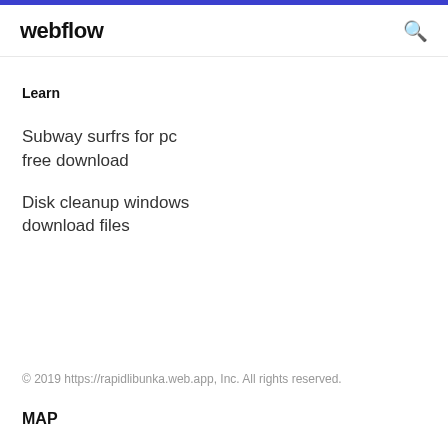webflow
Learn
Subway surfrs for pc free download
Disk cleanup windows download files
© 2019 https://rapidlibunka.web.app, Inc. All rights reserved.
MAP